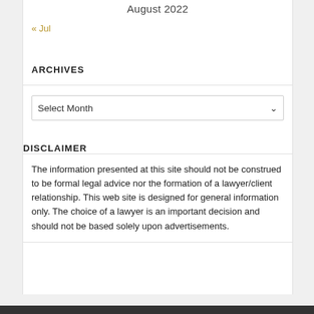August 2022
« Jul
ARCHIVES
Select Month
DISCLAIMER
The information presented at this site should not be construed to be formal legal advice nor the formation of a lawyer/client relationship. This web site is designed for general information only. The choice of a lawyer is an important decision and should not be based solely upon advertisements.